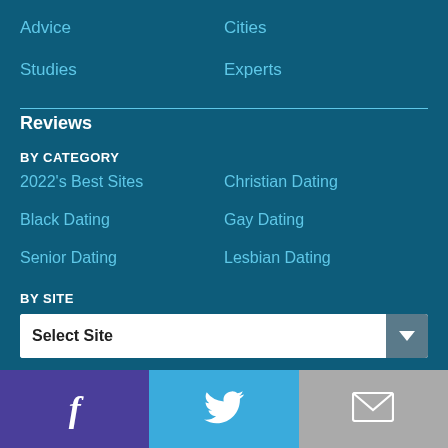Advice
Cities
Studies
Experts
Reviews
BY CATEGORY
2022's Best Sites
Christian Dating
Black Dating
Gay Dating
Senior Dating
Lesbian Dating
BY SITE
Select Site
[Figure (infographic): Social media footer bar with Facebook, Twitter, and email icons]